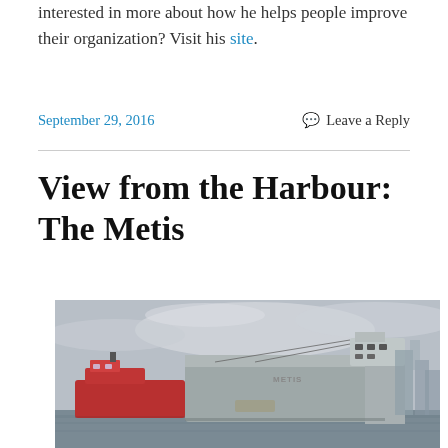interested in more about how he helps people improve their organization? Visit his site.
September 29, 2016
Leave a Reply
View from the Harbour: The Metis
[Figure (photo): A large grey cargo ship named METIS docked in a harbour, with a red tugboat alongside it on the left, and city buildings visible in the background on the right. Overcast sky.]